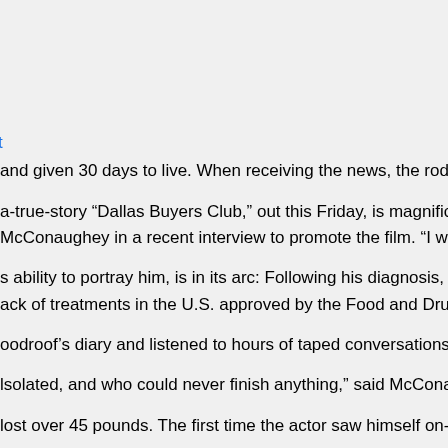t
and given 30 days to live. When receiving the news, the rodeo-lover
a-true-story “Dallas Buyers Club,” out this Friday, is magnificently cri
McConaughey in a recent interview to promote the film. “I would go as
s ability to portray him, is in its arc: Following his diagnosis, Woodro
ack of treatments in the U.S. approved by the Food and Drug Admin
oodroof’s diary and listened to hours of taped conversations between
lsolated, and who could never finish anything,” said McConaughey. “h
lost over 45 pounds. The first time the actor saw himself on-screen,
ge concern,” said the 43-year-old. “There is something valuable to n